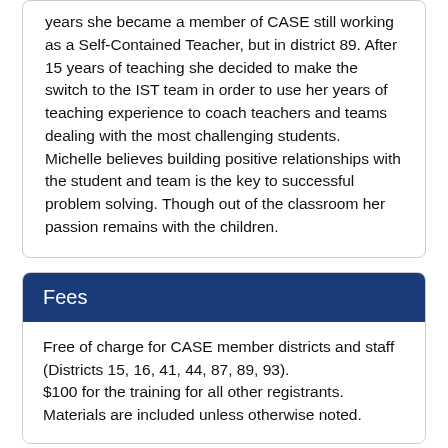years she became a member of CASE still working as a Self-Contained Teacher, but in district 89. After 15 years of teaching she decided to make the switch to the IST team in order to use her years of teaching experience to coach teachers and teams dealing with the most challenging students.  Michelle believes building positive relationships with the student and team is the key to successful problem solving. Though out of the classroom her passion remains with the children.
Fees
Free of charge for CASE member districts and staff (Districts 15, 16, 41, 44, 87, 89, 93).
$100 for the training for all other registrants. Materials are included unless otherwise noted.
Continuing Education Credits
Professional Development Credit Hours – 8